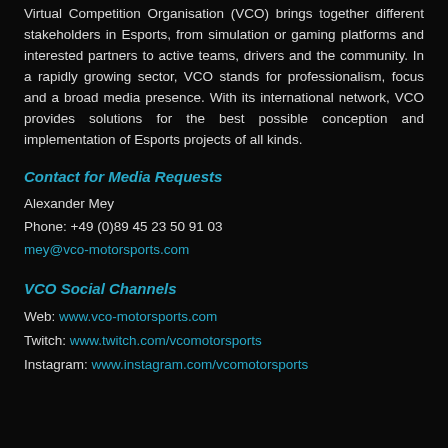Virtual Competition Organisation (VCO) brings together different stakeholders in Esports, from simulation or gaming platforms and interested partners to active teams, drivers and the community. In a rapidly growing sector, VCO stands for professionalism, focus and a broad media presence. With its international network, VCO provides solutions for the best possible conception and implementation of Esports projects of all kinds.
Contact for Media Requests
Alexander Mey
Phone: +49 (0)89 45 23 50 91 03
mey@vco-motorsports.com
VCO Social Channels
Web: www.vco-motorsports.com
Twitch: www.twitch.com/vcomotorsports
Instagram: www.instagram.com/vcomotorsports